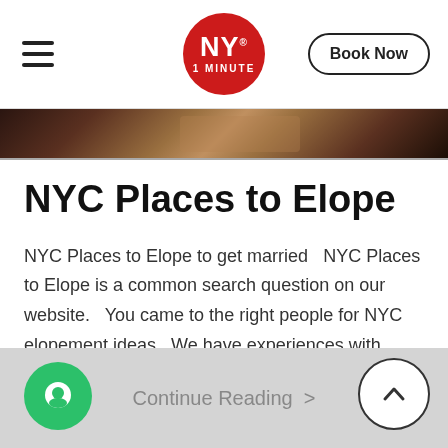NY 1 MINUTE | Book Now
[Figure (photo): Partial image strip showing a dark interior scene, cropped]
NYC Places to Elope
NYC Places to Elope to get married   NYC Places to Elope is a common search question on our website.   You came to the right people for NYC elopement ideas.  We have experiences with thousands of couples eloping in New . . .
Continue Reading  >